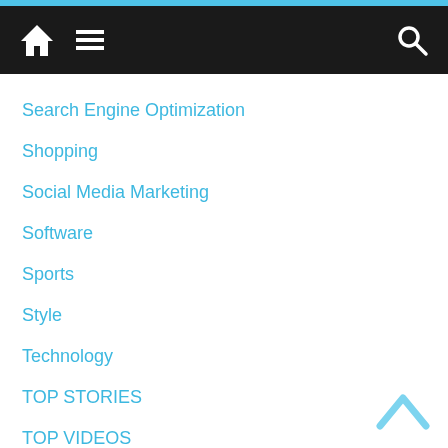Navigation bar with home, menu, and search icons
Search Engine Optimization
Shopping
Social Media Marketing
Software
Sports
Style
Technology
TOP STORIES
TOP VIDEOS
Travel
Uncategorized
Videos
Web Design